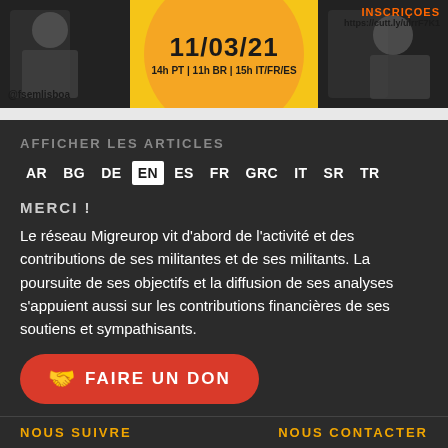[Figure (infographic): Event banner with yellow/orange background, two photo panels on sides showing people, central orange circle, handle @fsemlisboa, date 11/03/21, times 14h PT | 11h BR | 15h IT/FR/ES, top-right INSCRIÇOES with URL https://cutt.ly/ulrrF7K1]
AFFICHER LES ARTICLES
AR  BG  DE  EN  ES  FR  GRC  IT  SR  TR
MERCI !
Le réseau Migreurop vit d'abord de l'activité et des contributions de ses militantes et de ses militants. La poursuite de ses objectifs et la diffusion de ses analyses s'appuient aussi sur les contributions financières de ses soutiens et sympathisants.
FAIRE UN DON
NOUS SUIVRE
NOUS CONTACTER